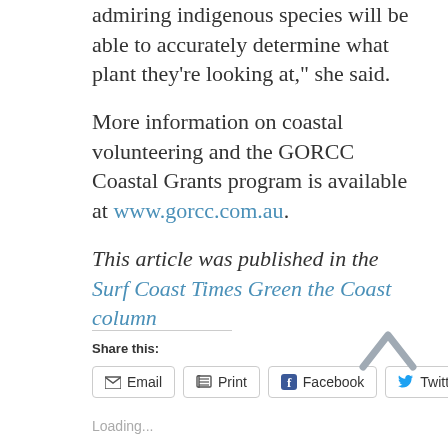enjoy walking along the path and admiring indigenous species will be able to accurately determine what plant they're looking at," she said.
More information on coastal volunteering and the GORCC Coastal Grants program is available at www.gorcc.com.au.
This article was published in the Surf Coast Times Green the Coast column
Share this:
Email  Print  Facebook  Twitter
Loading...